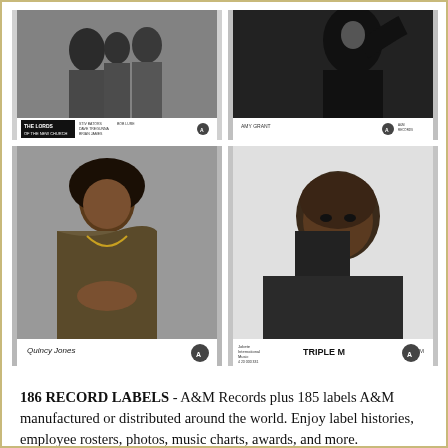[Figure (photo): Four black-and-white press photos arranged in a 2x2 grid. Top-left: The Lords of the New Church band photo with logo and A&M label. Top-right: Amy Grant portrait photo with A&M label. Bottom-left: Quincy Jones seated portrait with A&M label. Bottom-right: Triple M artist portrait with A&M label.]
186 RECORD LABELS - A&M Records plus 185 labels A&M manufactured or distributed around the world. Enjoy label histories, employee rosters, photos, music charts, awards, and more.